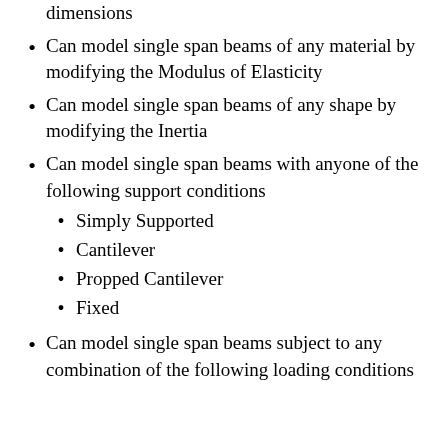dimensions
Can model single span beams of any material by modifying the Modulus of Elasticity
Can model single span beams of any shape by modifying the Inertia
Can model single span beams with anyone of the following support conditions
Simply Supported
Cantilever
Propped Cantilever
Fixed
Can model single span beams subject to any combination of the following loading conditions